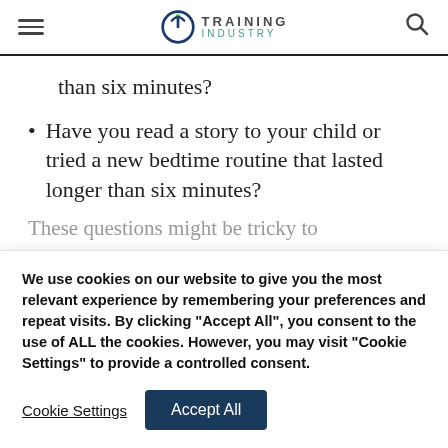TRAINING INDUSTRY
than six minutes?
Have you read a story to your child or tried a new bedtime routine that lasted longer than six minutes?
These questions might be tricky to
We use cookies on our website to give you the most relevant experience by remembering your preferences and repeat visits. By clicking "Accept All", you consent to the use of ALL the cookies. However, you may visit "Cookie Settings" to provide a controlled consent.
Cookie Settings  Accept All